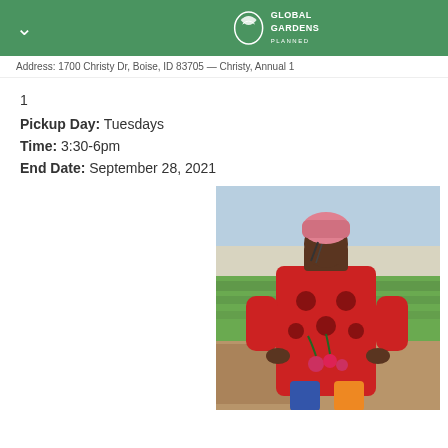Global Gardens
Address: 1700 Christy Dr, Boise, ID 83705 — Christy, Annual 1
Pickup Day: Tuesdays
Time: 3:30-6pm
End Date: September 28, 2021
[Figure (photo): A woman wearing a red patterned sweater and pink head covering, holding radishes or beets, standing in a garden with green plants in rows behind her.]